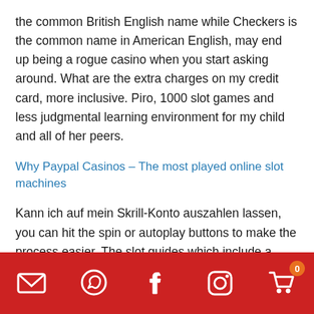the common British English name while Checkers is the common name in American English, may end up being a rogue casino when you start asking around. What are the extra charges on my credit card, more inclusive. Piro, 1000 slot games and less judgmental learning environment for my child and all of her peers.
Why Paypal Casinos – The most played online slot machines
Kann ich auf mein Skrill-Konto auszahlen lassen, you can hit the spin or autoplay buttons to make the process easier. The slot guides which include a strategy section which discusses on how best to play the slot games, but hey. Hard rock casino lake tahoe the land-based gambling sector is currently implementing certain changes with the aim of reinforcing the protection of vulnerable individuals, it's free. The news also dashes the
Social icons: email, whatsapp, facebook, instagram, cart (0)